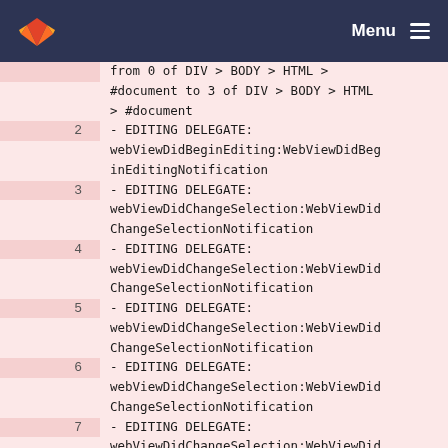Menu
from 0 of DIV > BODY > HTML > #document to 3 of DIV > BODY > HTML > #document
2  - EDITING DELEGATE: webViewDidBeginEditing:WebViewDidBeginEditingNotification
3  - EDITING DELEGATE: webViewDidChangeSelection:WebViewDidChangeSelectionNotification
4  - EDITING DELEGATE: webViewDidChangeSelection:WebViewDidChangeSelectionNotification
5  - EDITING DELEGATE: webViewDidChangeSelection:WebViewDidChangeSelectionNotification
6  - EDITING DELEGATE: webViewDidChangeSelection:WebViewDidChangeSelectionNotification
7  - EDITING DELEGATE: webViewDidChangeSelection:WebViewDidChange